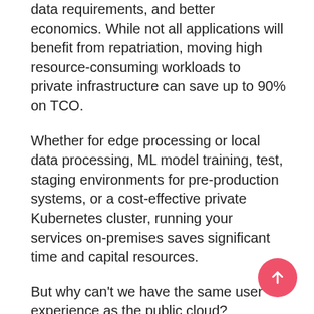data requirements, and better economics. While not all applications will benefit from repatriation, moving high resource-consuming workloads to private infrastructure can save up to 90% on TCO.
Whether for edge processing or local data processing, ML model training, test, staging environments for pre-production systems, or a cost-effective private Kubernetes cluster, running your services on-premises saves significant time and capital resources.
But why can't we have the same user experience as the public cloud? Especially when it comes to networking. Networks should enable the applications and support the needs of the rest of the stack unobtrusively.